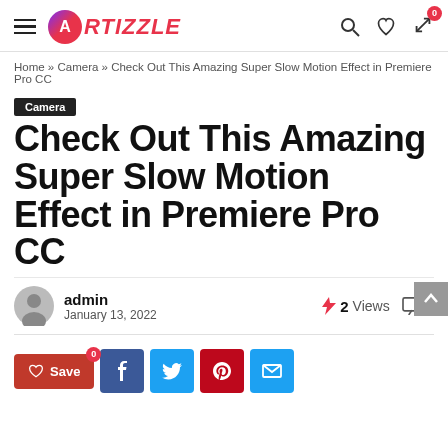ARTIZZLE
Home » Camera » Check Out This Amazing Super Slow Motion Effect in Premiere Pro CC
Camera
Check Out This Amazing Super Slow Motion Effect in Premiere Pro CC
admin
January 13, 2022
2 Views
0
Save 0